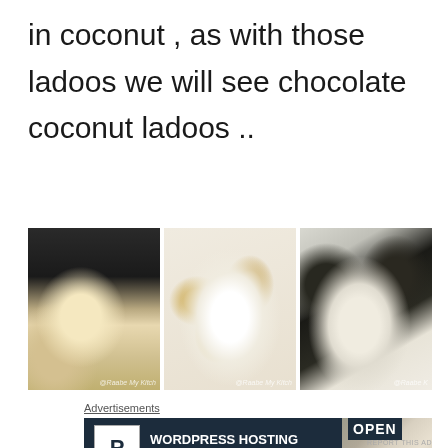in coconut , as with those ladoos we will see chocolate coconut ladoos ..
[Figure (photo): Three food photos side by side: (1) a hand holding a single round ladoo ball against a dark background with coconut/ingredients visible, (2) a white plate full of coconut-coated ladoo balls arranged in rows, (3) close-up of chocolate coconut ladoos showing dark chocolate coating and white coconut texture]
Advertisements
[Figure (screenshot): Advertisement banner: dark navy blue background with white P icon in a white box on left, text 'WORDPRESS HOSTING THAT MEANS BUSINESS.' in bold white, with an image of an OPEN sign on the right side]